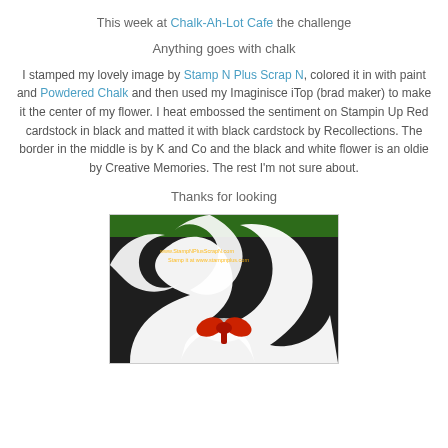This week at Chalk-Ah-Lot Cafe the challenge
Anything goes with chalk
I stamped my lovely image by Stamp N Plus Scrap N, colored it in with paint and Powdered Chalk and then used my Imaginisce iTop (brad maker) to make it the center of my flower. I heat embossed the sentiment on Stampin Up Red cardstock in black and matted it with black cardstock by Recollections. The border in the middle is by K and Co and the black and white flower is an oldie by Creative Memories. The rest I'm not sure about.
Thanks for looking
[Figure (photo): A handmade greeting card featuring a dark background with a large white and black floral/scroll design, a red bow at the center bottom, a green top border, and a watermark overlay.]